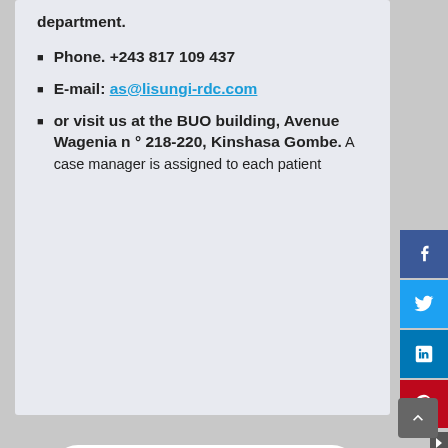department.
Phone. +243 817 109 437
E-mail: as@lisungi-rdc.com
or visit us at the BUO building, Avenue Wagenia n ° 218-220, Kinshasa Gombe. A case manager is assigned to each patient
[Figure (logo): BUO logo with stylized golden B and U letters and a globe icon with arrow]